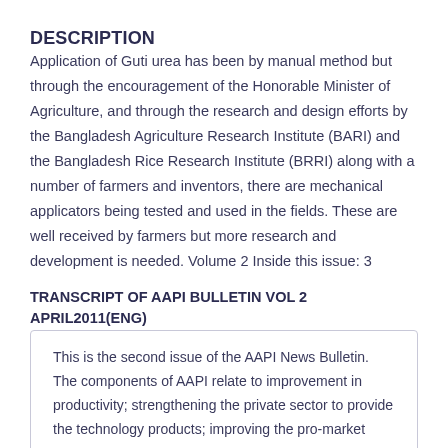DESCRIPTION
Application of Guti urea has been by manual method but through the encouragement of the Honorable Minister of Agriculture, and through the research and design efforts by the Bangladesh Agriculture Research Institute (BARI) and the Bangladesh Rice Research Institute (BRRI) along with a number of farmers and inventors, there are mechanical applicators being tested and used in the fields. These are well received by farmers but more research and development is needed. Volume 2 Inside this issue: 3
TRANSCRIPT OF AAPI BULLETIN VOL 2 APRIL2011(ENG)
This is the second issue of the AAPI News Bulletin. The components of AAPI relate to improvement in productivity; strengthening the private sector to provide the technology products; improving the pro-market